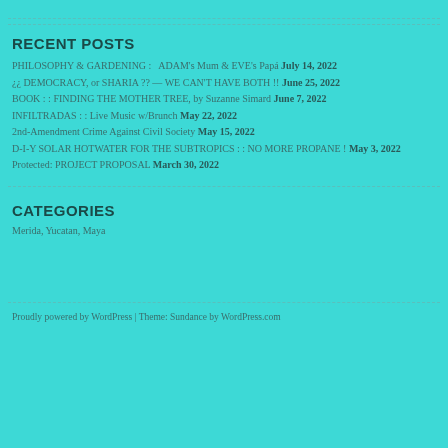RECENT POSTS
PHILOSOPHY & GARDENING :   ADAM's Mum & EVE's Papá July 14, 2022
¿¿ DEMOCRACY, or SHARIA ?? — WE CAN'T HAVE BOTH !! June 25, 2022
BOOK : : FINDING THE MOTHER TREE, by Suzanne Simard June 7, 2022
INFILTRADAS : : Live Music w/Brunch May 22, 2022
2nd-Amendment Crime Against Civil Society May 15, 2022
D-I-Y SOLAR HOTWATER FOR THE SUBTROPICS : : NO MORE PROPANE ! May 3, 2022
Protected: PROJECT PROPOSAL March 30, 2022
CATEGORIES
Merida, Yucatan, Maya
Proudly powered by WordPress | Theme: Sundance by WordPress.com